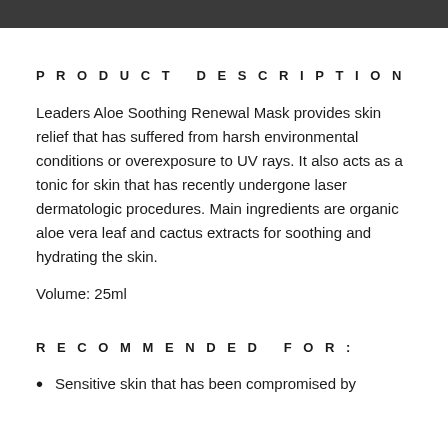PRODUCT DESCRIPTION
Leaders Aloe Soothing Renewal Mask provides skin relief that has suffered from harsh environmental conditions or overexposure to UV rays. It also acts as a tonic for skin that has recently undergone laser dermatologic procedures. Main ingredients are organic aloe vera leaf and cactus extracts for soothing and hydrating the skin.
Volume: 25ml
RECOMMENDED FOR:
Sensitive skin that has been compromised by